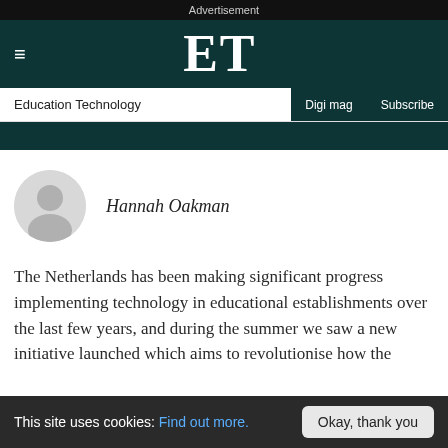Advertisement
ET — Education Technology | Digi mag | Subscribe
Hannah Oakman
The Netherlands has been making significant progress implementing technology in educational establishments over the last few years, and during the summer we saw a new initiative launched which aims to revolutionise how the
This site uses cookies: Find out more. Okay, thank you